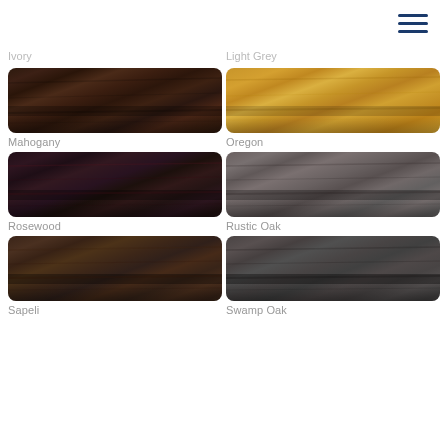[Figure (other): Hamburger menu icon with three navy blue horizontal lines, top right corner]
Ivory
Light Grey
[Figure (photo): Mahogany wood grain swatch - dark brown]
[Figure (photo): Oregon wood grain swatch - golden/honey color]
Mahogany
Oregon
[Figure (photo): Rosewood wood grain swatch - very dark reddish brown]
[Figure (photo): Rustic Oak wood grain swatch - medium grey-brown]
Rosewood
Rustic Oak
[Figure (photo): Sapeli wood grain swatch - dark warm brown]
[Figure (photo): Swamp Oak wood grain swatch - dark cool grey-brown]
Sapeli
Swamp Oak